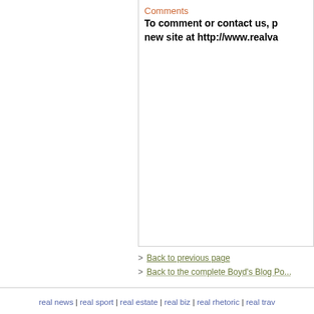Comments
To comment or contact us, p... new site at http://www.realva...
> Back to previous page
> Back to the complete Boyd's Blog Po...
real news | real sport | real estate | real biz | real rhetoric | real trav... home page | vail on sale | about us | rss... © 2008...